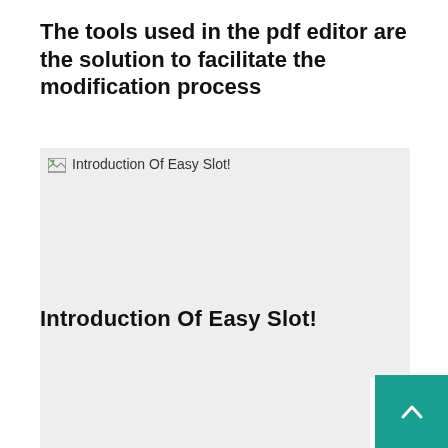The tools used in the pdf editor are the solution to facilitate the modification process
[Figure (illustration): Broken/missing image placeholder with alt text 'Introduction Of Easy Slot!' on a light gray background]
Introduction Of Easy Slot!
[Figure (illustration): Partially visible light gray image placeholder with a teal scroll-to-top button (chevron up icon) in the bottom right corner]